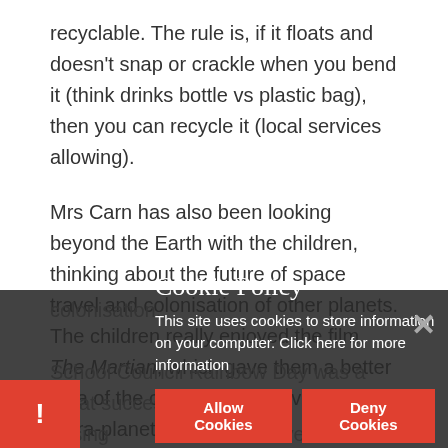recyclable. The rule is, if it floats and doesn't snap or crackle when you bend it (think drinks bottle vs plastic bag), then you can recycle it (local services allowing).
Mrs Carn has also been looking beyond the Earth with the children, thinking about the future of space travel and colonisation of other planets. The children really enjoyed the film, The Martian, which gave them a better idea of the challenges involved in extra-planetary colonisation.
School Council Rainbow Day was a great success, raising ... involved a ... orphan... classmates. They were aware of all of the Cornish... that all joined.
[Figure (screenshot): Cookie Policy popup overlay on a dark dimmed background. Title: 'Cookie Policy'. Body text: 'This site uses cookies to store information on your computer. Click here for more information'. Two red buttons: 'Allow Cookies' and 'Deny Cookies'. An X close button on the right. A red exclamation box bottom-left.]